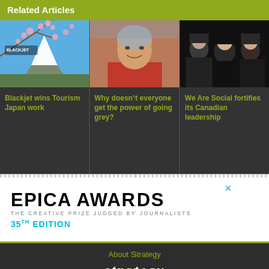Related Articles
[Figure (photo): Article card 1: Blackjet wins Tourism Japan work - image of Mt. Fuji with cherry blossoms and blue sky, with Blackjet logo overlay]
Blackjet wins Tourism Japan work
[Figure (photo): Article card 2: Why doesn't everyone get the power of going grey? - portrait of a smiling woman with grey hair]
Why doesn't everyone get the power of going grey?
[Figure (photo): Article card 3: We Are Social fortifies its Canadian leadership - photo of three people against dark background]
We Are Social fortifies its Canadian leadership
[Figure (advertisement): Epica Awards advertisement. Large bold text: EPICA AWARDS. Subtitle: THE CREATIVE PRIZE JUDGED BY JOURNALISTS. Blue text: 35TH EDITION]
About Strategy
strategy